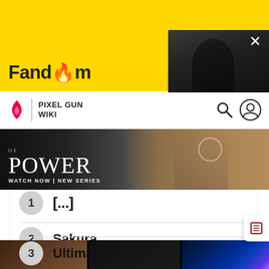[Figure (screenshot): Fandom wiki website screenshot showing Pixel Gun Wiki header, a 'Power' TV show advertisement banner, and a numbered list with items: 1 (partially visible), 2 Sakura, 3 Ultimatum]
Fandom
PIXEL GUN WIKI
1 [partially visible]
2 Sakura
3 Ultimatum